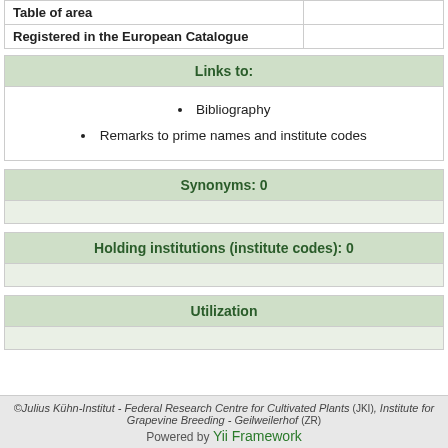| Table of area |  |
| Registered in the European Catalogue |  |
Links to:
Bibliography
Remarks to prime names and institute codes
Synonyms: 0
Holding institutions (institute codes): 0
Utilization
©Julius Kühn-Institut - Federal Research Centre for Cultivated Plants (JKI), Institute for Grapevine Breeding - Geilweilerhof (ZR)
Powered by Yii Framework